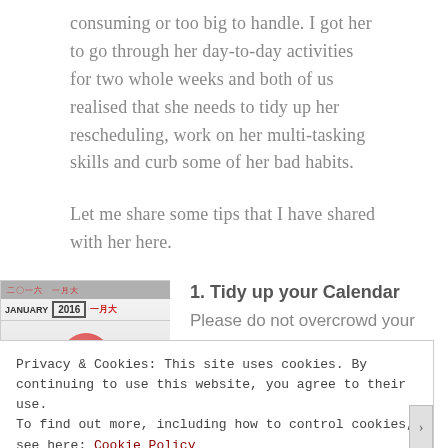consuming or too big to handle. I got her to go through her day-to-day activities for two whole weeks and both of us realised that she needs to tidy up her rescheduling, work on her multi-tasking skills and curb some of her bad habits.
Let me share some tips that I have shared with her here.
[Figure (photo): A calendar showing January 2016 with Chinese characters, featuring a red circular element at the bottom]
1. Tidy up your Calendar
Please do not overcrowd your
Privacy & Cookies: This site uses cookies. By continuing to use this website, you agree to their use.
To find out more, including how to control cookies, see here: Cookie Policy